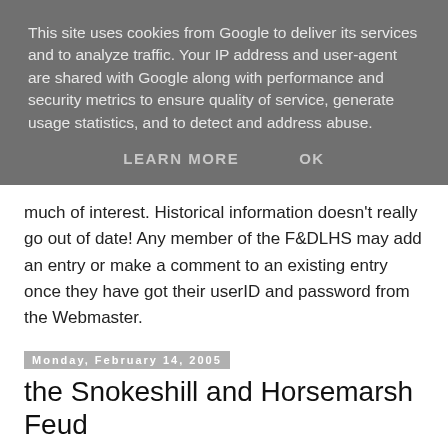This site uses cookies from Google to deliver its services and to analyze traffic. Your IP address and user-agent are shared with Google along with performance and security metrics to ensure quality of service, generate usage statistics, and to detect and address abuse.
LEARN MORE    OK
much of interest. Historical information doesn't really go out of date! Any member of the F&DLHS may add an entry or make a comment to an existing entry once they have got their userID and password from the Webmaster.
Monday, February 14, 2005
the Snokeshill and Horsemarsh Feud
Between 1567 and 1570, there was considerable feuding in the Foxearth area. In fact, the Northern parishes of Essex seem to have been engaged in some rather high-spirited behaviour at the time: Strangely, nobody seems to have been killed or injured. (someone got struck with a "forestchyll"). We know about it because of the subsequent